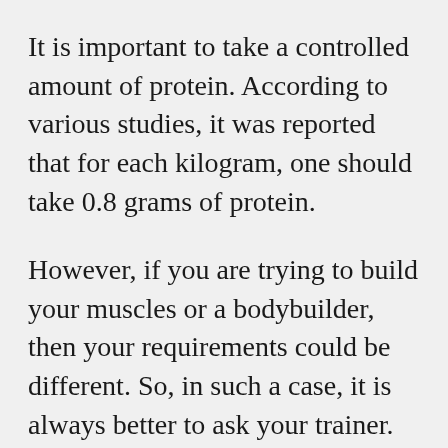It is important to take a controlled amount of protein. According to various studies, it was reported that for each kilogram, one should take 0.8 grams of protein.
However, if you are trying to build your muscles or a bodybuilder, then your requirements could be different. So, in such a case, it is always better to ask your trainer.